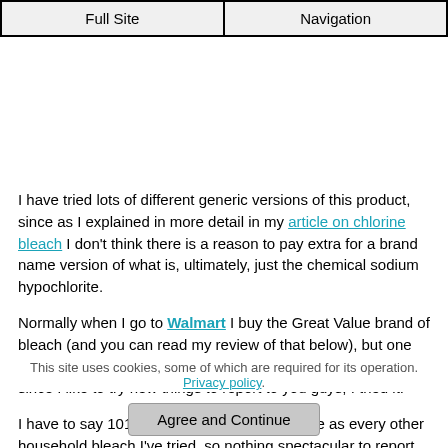Full Site | Navigation
I have tried lots of different generic versions of this product, since as I explained in more detail in my article on chlorine bleach I don't think there is a reason to pay extra for a brand name version of what is, ultimately, just the chemical sodium hypochlorite.
Normally when I go to Walmart I buy the Great Value brand of bleach (and you can read my review of that below), but one time when I went I saw this generic brand version, 101, and since I like to try new things to report to you guys, I tried it.
I have to say 101 Bleach is basically the same as every other household bleach I've tried, so nothing spectacular to report. However, it was cheaper than buying Clorox brand bleach so using it instead of
This site uses cookies, some of which are required for its operation. Privacy policy.
Agree and Continue